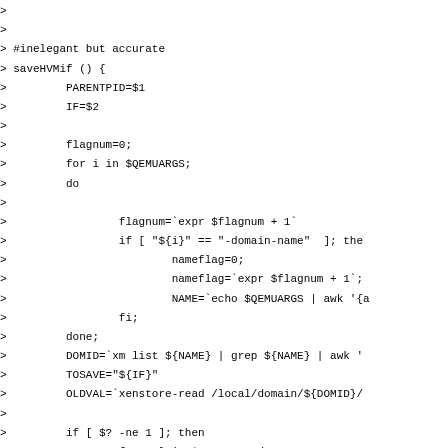> 
> 
> #inelegant but accurate
> saveHVMif () {
>         PARENTPID=$1
>         IF=$2
> 
>         flagnum=0;
>         for i in $QEMUARGS;
>         do
> 
>                 flagnum=`expr $flagnum + 1`
>                 if [ "${i}" == "-domain-name"  ]; the
>                         nameflag=0;
>                         nameflag=`expr $flagnum + 1`;
>                         NAME=`echo $QEMUARGS | awk '{a
>                 fi;
>         done;
>         DOMID=`xm list ${NAME} | grep ${NAME} | awk '
>         TOSAVE="${IF}"
>         OLDVAL=`xenstore-read /local/domain/${DOMID}/
> 
>         if [ $? -ne 1 ]; then
>                 for val in $OLDVALS; do
>                         if [ "${val}" == "${IF}" ]; t
>                                         IF=""
>                         fi
>                 done
>                 if [ "${IF}" != "" ]; then
>                         TOSAVE="${IF}, ${OLDVAL}"
>                 else